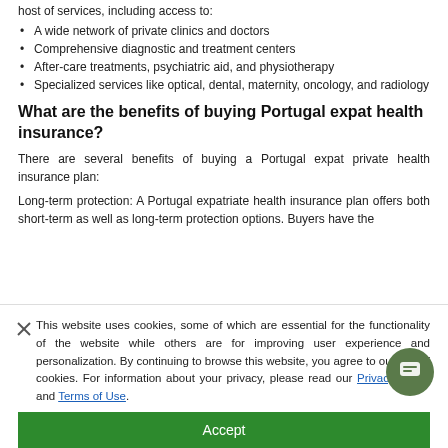host of services, including access to:
A wide network of private clinics and doctors
Comprehensive diagnostic and treatment centers
After-care treatments, psychiatric aid, and physiotherapy
Specialized services like optical, dental, maternity, oncology, and radiology
What are the benefits of buying Portugal expat health insurance?
There are several benefits of buying a Portugal expat private health insurance plan:
Long-term protection: A Portugal expatriate health insurance plan offers both short-term as well as long-term protection options. Buyers have the
This website uses cookies, some of which are essential for the functionality of the website while others are for improving user experience and personalization. By continuing to browse this website, you agree to our use of cookies. For information about your privacy, please read our Privacy Policy and Terms of Use.
Accept